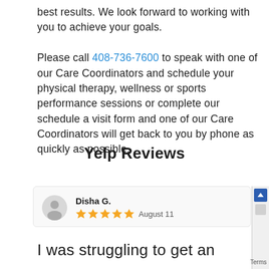best results. We look forward to working with you to achieve your goals.

Please call 408-736-7600 to speak with one of our Care Coordinators and schedule your physical therapy, wellness or sports performance sessions or complete our schedule a visit form and one of our Care Coordinators will get back to you by phone as quickly as possible.
Yelp Reviews
Disha G.
★★★★★ August 11
I was struggling to get an